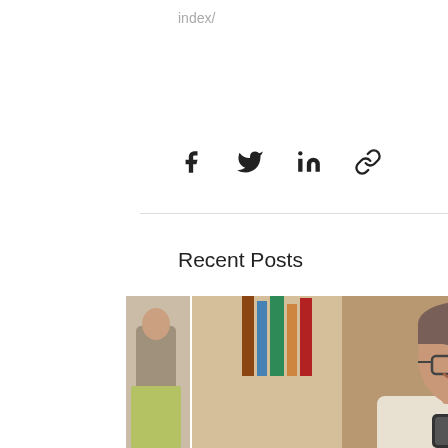index/
[Figure (other): Social share icons: Facebook, Twitter, LinkedIn, Link/chain icon]
[Figure (other): Horizontal divider line]
Recent Posts
See All
[Figure (photo): Three blog post thumbnail photos shown in a scrollable horizontal row: left shows partial photo of person in yellow/green jacket, center shows smiling man with glasses looking at phone in library/cafe setting, right shows partial photo of person in restaurant/bar setting]